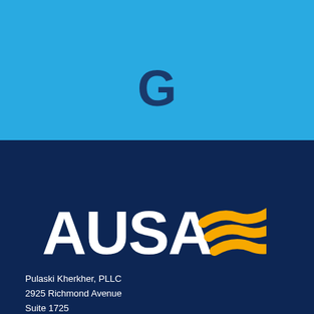[Figure (logo): Large letter G in dark navy on light blue background]
[Figure (logo): AUSA logo in white bold text with orange wave graphic on dark navy background]
Pulaski Kherkher, PLLC
2925 Richmond Avenue
Suite 1725